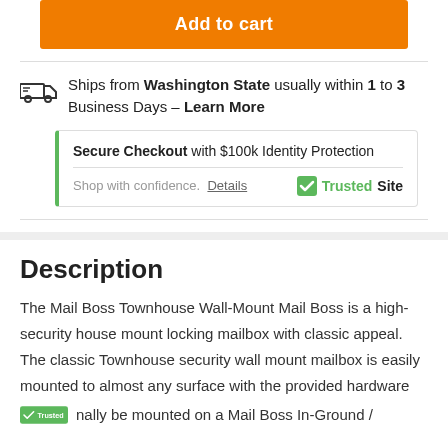Add to cart
Ships from Washington State usually within 1 to 3 Business Days - Learn More
Secure Checkout with $100k Identity Protection
Shop with confidence. Details
TrustedSite
Description
The Mail Boss Townhouse Wall-Mount Mail Boss is a high-security house mount locking mailbox with classic appeal. The classic Townhouse security wall mount mailbox is easily mounted to almost any surface with the provided hardware nally be mounted on a Mail Boss In-Ground /